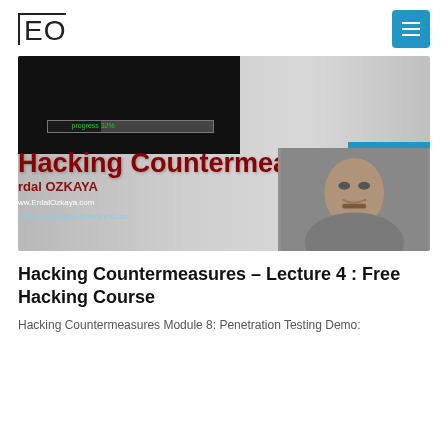EO
[Figure (screenshot): Thumbnail image for a hacking countermeasures lecture video. Shows a dark panel with a progress bar at 32%, large red bold text 'Hacking Countermeasures', author name 'Erdal OZKAYA', website www.ErdalOzkaya.com, email erdal.Ozkaya@itmasters.edu.au, a blue date badge showing '19 Jun-14', and a black-and-white portrait photo on the right side.]
Hacking Countermeasures – Lecture 4 : Free Hacking Course
Hacking Countermeasures Module 8: Penetration Testing Demo: